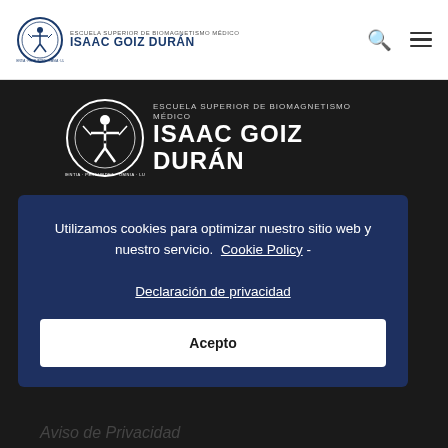[Figure (logo): Isaac Goiz Durán school logo in header — circular emblem with Vitruvian man figure and text ISAAC GOIZ DURÁN]
[Figure (logo): Large Isaac Goiz Durán school logo on dark background — circular emblem with ESCUELA SUPERIOR DE BIOMAGNETISMO MÉDICO / ISAAC GOIZ DURÁN]
Utilizamos cookies para optimizar nuestro sitio web y nuestro servicio. Cookie Policy - Declaración de privacidad
Acepto
Aviso de Privacidad